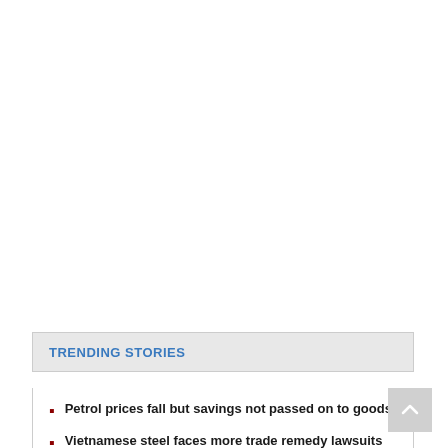TRENDING STORIES
Petrol prices fall but savings not passed on to goods
Vietnamese steel faces more trade remedy lawsuits
Sacombank rewards merchants accepting payment via VIETQR
Refusal to issue visas to new VN passport causes